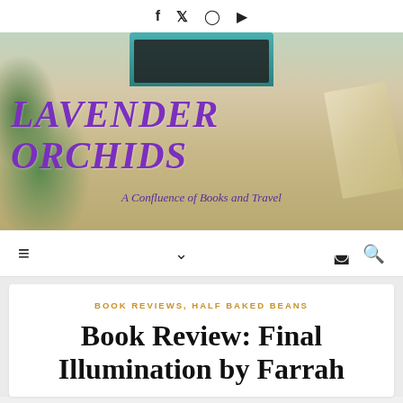f  t  (instagram)  (youtube)
[Figure (photo): Hero banner image showing a wooden desk with a teal typewriter, green plants, and a decorative book. Overlaid with the blog title 'LAVENDER ORCHIDS' in large purple italic text and subtitle 'A Confluence of Books and Travel'.]
LAVENDER ORCHIDS
A Confluence of Books and Travel
≡  ∨  (moon icon)  (search icon)
BOOK REVIEWS, HALF BAKED BEANS
Book Review: Final Illumination by Farrah